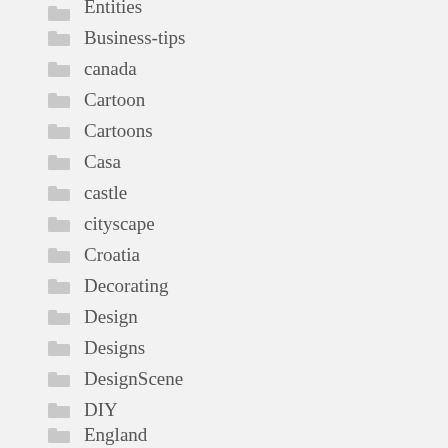Business-tips
canada
Cartoon
Cartoons
Casa
castle
cityscape
Croatia
Decorating
Design
Designs
DesignScene
DIY
England